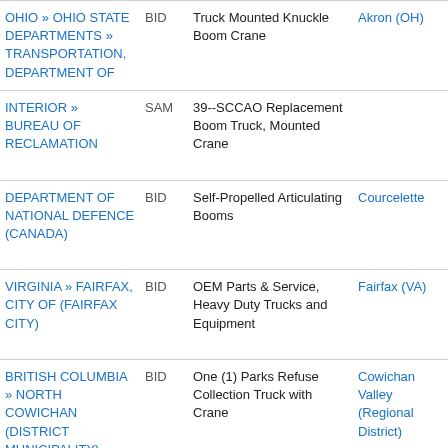| Agency | Type | Title | Location | Action |
| --- | --- | --- | --- | --- |
| OHIO » OHIO STATE DEPARTMENTS » TRANSPORTATION, DEPARTMENT OF | BID | Truck Mounted Knuckle Boom Crane | Akron (OH) | Try GovWin IQ for Free |
| INTERIOR » BUREAU OF RECLAMATION | SAM | 39--SCCAO Replacement Boom Truck, Mounted Crane |  | Try GovWin IQ for Free |
| DEPARTMENT OF NATIONAL DEFENCE (CANADA) | BID | Self-Propelled Articulating Booms | Courcelette | Try GovWin IQ for Free |
| VIRGINIA » FAIRFAX, CITY OF (FAIRFAX CITY) | BID | OEM Parts & Service, Heavy Duty Trucks and Equipment | Fairfax (VA) | Try GovWin IQ for Free |
| BRITISH COLUMBIA » NORTH COWICHAN (DISTRICT MUNICIPALITY) (CANADA) | BID | One (1) Parks Refuse Collection Truck with Crane | Cowichan Valley (Regional District) | Try GovWin IQ for Free |
| ONTARIO | BID | Operational Services - Huntsville (50- |  | Try GovWin IQ for |